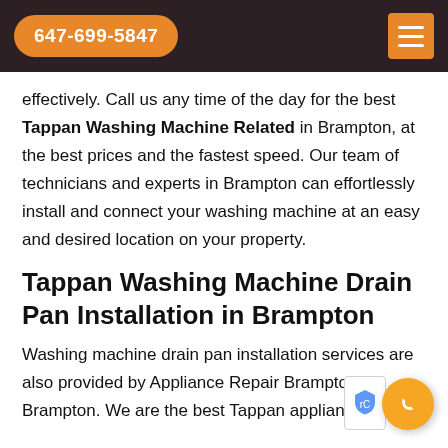647-699-5847
effectively. Call us any time of the day for the best Tappan Washing Machine Related in Brampton, at the best prices and the fastest speed. Our team of technicians and experts in Brampton can effortlessly install and connect your washing machine at an easy and desired location on your property.
Tappan Washing Machine Drain Pan Installation in Brampton
Washing machine drain pan installation services are also provided by Appliance Repair Brampton in Brampton. We are the best Tappan appliances